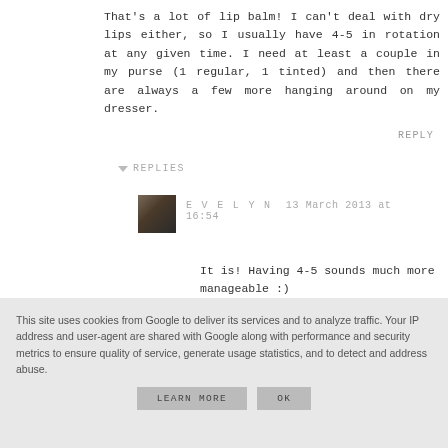That's a lot of lip balm! I can't deal with dry lips either, so I usually have 4-5 in rotation at any given time. I need at least a couple in my purse (1 regular, 1 tinted) and then there are always a few more hanging around on my dresser.
REPLY
▾ REPLIES
[Figure (photo): Small avatar photo of Evelyn, a woman with dark hair]
EVELYN  13 March 2013 at 16:54
It is! Having 4-5 sounds much more manageable :)
[Figure (photo): Small partial avatar thumbnail visible at bottom]
This site uses cookies from Google to deliver its services and to analyze traffic. Your IP address and user-agent are shared with Google along with performance and security metrics to ensure quality of service, generate usage statistics, and to detect and address abuse.
LEARN MORE
OK